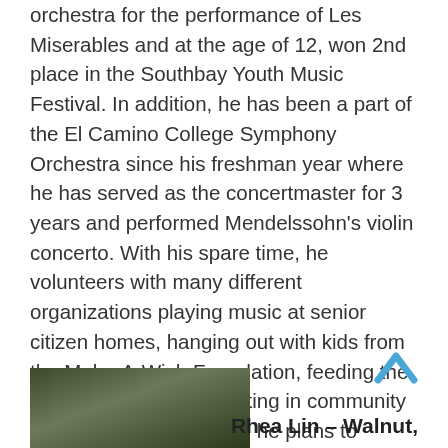orchestra for the performance of Les Miserables and at the age of 12, won 2nd place in the Southbay Youth Music Festival. In addition, he has been a part of the El Camino College Symphony Orchestra since his freshman year where he has served as the concertmaster for 3 years and performed Mendelssohn's violin concerto. With his spare time, he volunteers with many different organizations playing music at senior citizen homes, hanging out with kids from the Make-A-Wish Foundation, feeding the homeless, and participating in community beautification. In the fall, he plans to attend the University of California Los Angeles and major in business economics and minor in music.
[Figure (photo): Partial photo of a person against a dark green outdoor background, cropped at bottom of page]
Rhea Lin – Walnut,